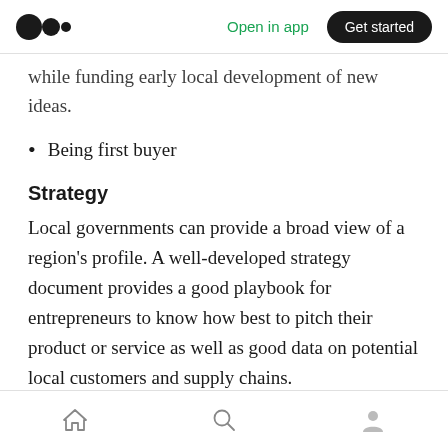Medium app header — Open in app | Get started
while funding early local development of new ideas.
Being first buyer
Strategy
Local governments can provide a broad view of a region's profile. A well-developed strategy document provides a good playbook for entrepreneurs to know how best to pitch their product or service as well as good data on potential local customers and supply chains.
Home | Search | Profile navigation icons